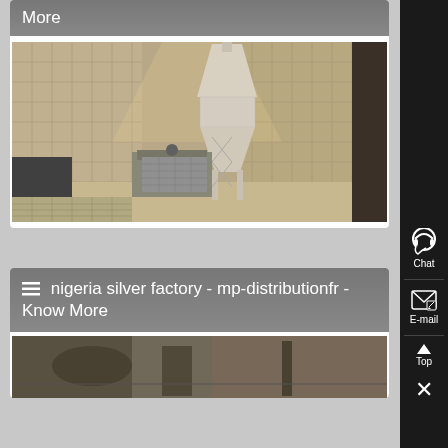More
[Figure (photo): Industrial factory interior showing a large grinding/milling machine (white cyclone separator tower) inside a warehouse with corrugated metal walls and stacked brick-like blocks on the floor]
nigeria silver factory - mp-distributionfr - Know More
[Figure (photo): Industrial factory scene, partial view at the bottom of the page]